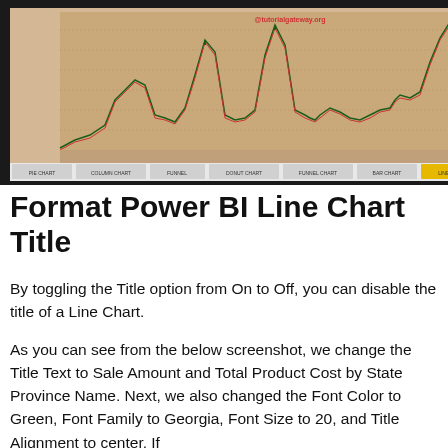[Figure (screenshot): Screenshot of Power BI interface showing a line chart with multiple spikes (red and dark green lines) on a tan/beige background, with a formatting panel on the right side showing options like Data colors, Data labels, Shapes, Plot Area, Transparency, and Title settings. Tab bar at bottom shows chart type options including Line Chart highlighted.]
Format Power BI Line Chart Title
By toggling the Title option from On to Off, you can disable the title of a Line Chart.
As you can see from the below screenshot, we change the Title Text to Sale Amount and Total Product Cost by State Province Name. Next, we also changed the Font Color to Green, Font Family to Georgia, Font Size to 20, and Title Alignment to center. If